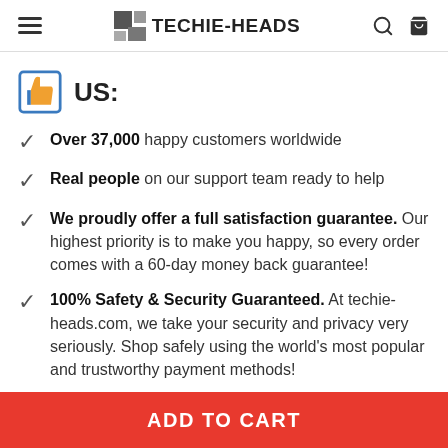TECHIE-HEADS
US:
Over 37,000 happy customers worldwide
Real people on our support team ready to help
We proudly offer a full satisfaction guarantee. Our highest priority is to make you happy, so every order comes with a 60-day money back guarantee!
100% Safety & Security Guaranteed. At techie-heads.com, we take your security and privacy very seriously. Shop safely using the world's most popular and trustworthy payment methods!
ADD TO CART